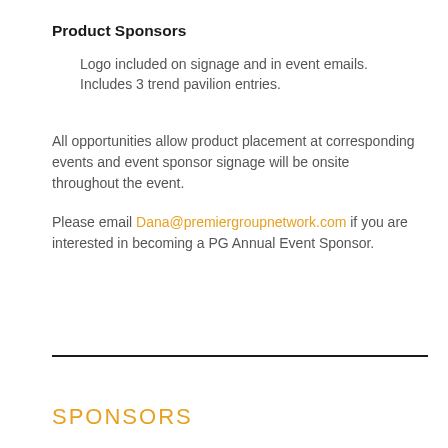Product Sponsors
Logo included on signage and in event emails. Includes 3 trend pavilion entries.
All opportunities allow product placement at corresponding events and event sponsor signage will be onsite throughout the event.
Please email Dana@premiergroupnetwork.com if you are interested in becoming a PG Annual Event Sponsor.
SPONSORS